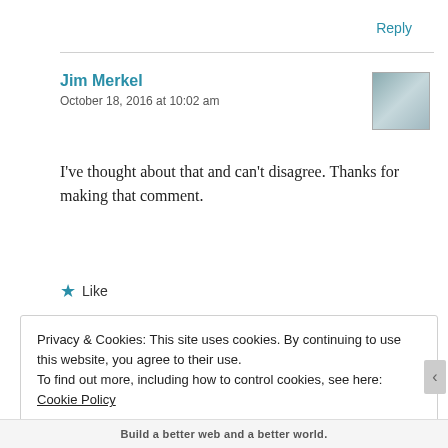Reply
Jim Merkel
October 18, 2016 at 10:02 am
[Figure (photo): Small avatar photo showing two people]
I've thought about that and can't disagree. Thanks for making that comment.
★ Like
Privacy & Cookies: This site uses cookies. By continuing to use this website, you agree to their use.
To find out more, including how to control cookies, see here: Cookie Policy
Close and accept
Build a better web and a better world.